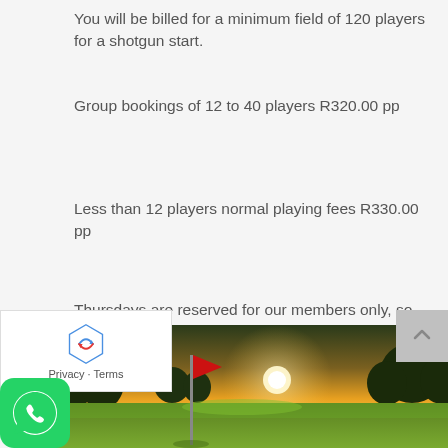You will be billed for a minimum field of 120 players for a shotgun start.
Group bookings of 12 to 40 players R320.00 pp
Less than 12 players normal playing fees R330.00 pp
Thursdays are reserved for our members only, so no golf days allowed on a Thursday.
[Figure (photo): Golf course at sunset with red flag in foreground, green fairway, trees silhouetted against orange and yellow sky]